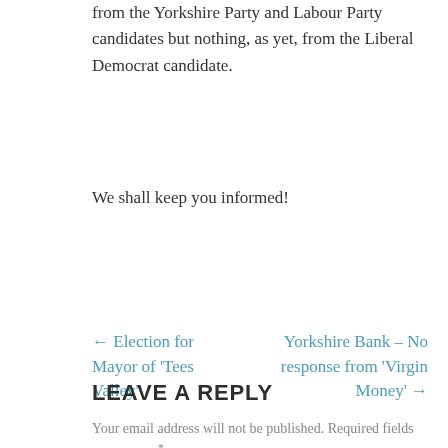from the Yorkshire Party and Labour Party candidates but nothing, as yet, from the Liberal Democrat candidate.
We shall keep you informed!
← Election for Mayor of 'Tees Valley'
Yorkshire Bank – No response from 'Virgin Money' →
LEAVE A REPLY
Your email address will not be published. Required fields are marked *